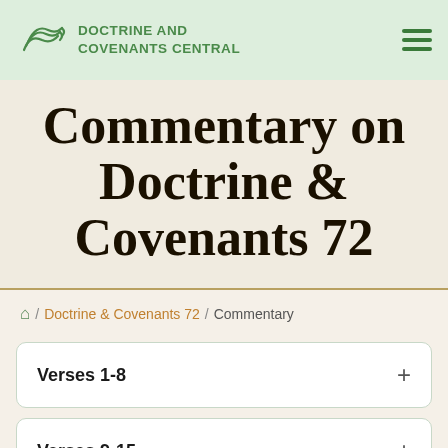Doctrine and Covenants Central
Commentary on Doctrine & Covenants 72
🏠 / Doctrine & Covenants 72 / Commentary
Verses 1-8
Verses 9-15